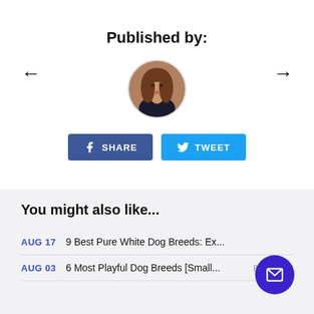Published by:
[Figure (photo): Circular avatar photo of a young woman with long brown hair wearing dark clothing]
[Figure (other): Share and Tweet social media buttons]
You might also like...
AUG 17  9 Best Pure White Dog Breeds: Ex...
AUG 03  6 Most Playful Dog Breeds [Small...  8 min read